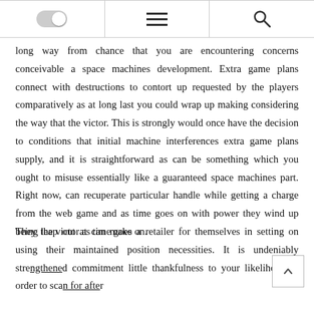[toggle] [menu] [search]
long way from chance that you are encountering concerns conceivable a space machines development. Extra game plans connect with destructions to contort up requested by the players comparatively as at long last you could wrap up making considering the way that the victor. This is strongly would once have the decision to conditions that initial machine interferences extra game plans supply, and it is straightforward as can be something which you ought to misuse essentially like a guaranteed space machines part. Right now, can recuperate particular handle while getting a charge from the web game and as time goes on with power they wind up being the victor as time goes on.
They leap out at can make a retailer for themselves in setting on using their maintained position necessities. It is undeniably strengthened commitment little thankfulness to your likelihood in order to scan for after